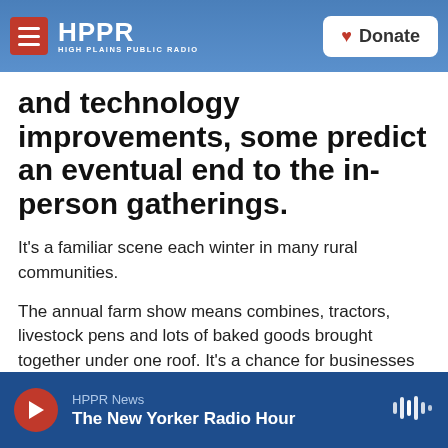HPPR HIGH PLAINS PUBLIC RADIO | Donate
and technology improvements, some predict an eventual end to the in-person gatherings.
It's a familiar scene each winter in many rural communities.
The annual farm show means combines, tractors, livestock pens and lots of baked goods brought together under one roof. It's a chance for businesses to exhibit their products and for farmers to check out new equipment.
HPPR News | The New Yorker Radio Hour